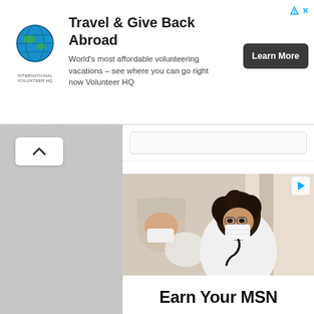[Figure (screenshot): Top advertisement banner for International Volunteer HQ showing globe logo, headline 'Travel & Give Back Abroad', body text 'World's most affordable volunteering vacations – see where you can go right now Volunteer HQ', and a dark 'Learn More' button. Blue play/ad icon and X close button in top right.]
[Figure (screenshot): Web page screenshot showing left sidebar with up-chevron navigation button on grey textured background, white main content area, and partial search bar at top.]
[Figure (photo): Medical advertisement photo showing a healthcare worker with curly hair wearing glasses and a white face mask using a stethoscope to examine a patient who is also masked. Both are in a clinical setting.]
Earn Your MSN